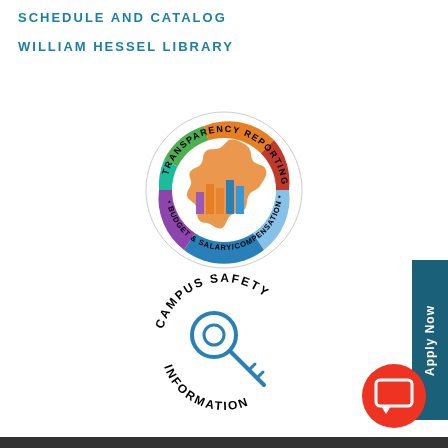SCHEDULE AND CATALOG
WILLIAM HESSEL LIBRARY
[Figure (logo): Transparency Reporting - Budget & Salary/Compensation circular logo with Michigan state silhouette and colorful bar charts]
[Figure (logo): Campus Safety Information circular logo with a key icon in the center]
[Figure (other): Apply Now vertical button on right side]
[Figure (other): Red circular chat/message button in bottom right]